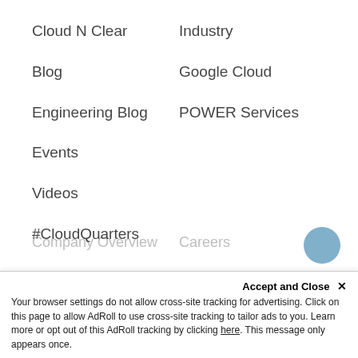Cloud N Clear
Industry
Blog
Google Cloud
Engineering Blog
POWER Services
Events
Videos
#CloudQuarters
ABOUT US
GET STARTED
Your browser settings do not allow cross-site tracking for advertising. Click on this page to allow AdRoll to use cross-site tracking to tailor ads to you. Learn more or opt out of this AdRoll tracking by clicking here. This message only appears once.